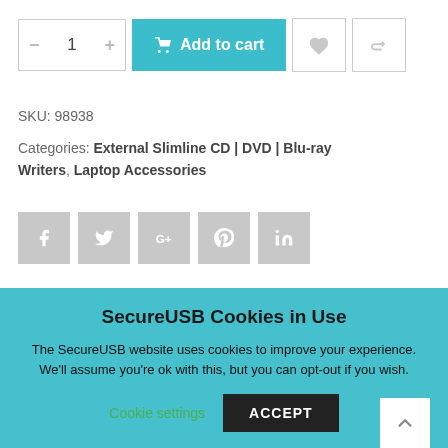[Figure (screenshot): Add to cart control row with quantity selector (minus, 1, plus), cyan 'Add to cart' button with cart icon, heart icon button, and refresh/compare icon button]
SKU: 98938
Categories: External Slimline CD | DVD | Blu-ray Writers, Laptop Accessories
[Figure (other): Social share buttons: Facebook, Twitter, Google+, Pinterest, LinkedIn — all in grey squares]
SecureUSB Cookies in Use
The SecureUSB website uses cookies to improve your experience. We'll assume you're ok with this, but you can opt-out if you wish.
Cookie settings   ACCEPT